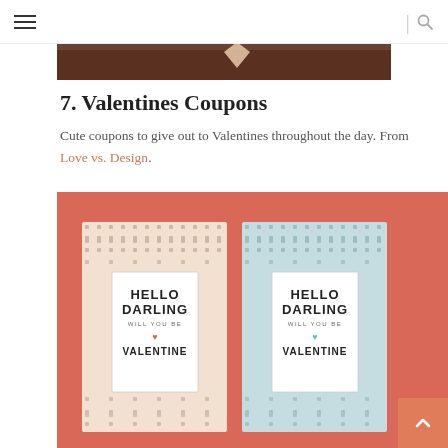Navigation header with hamburger menu and search icon
[Figure (photo): Partial top image showing wood-toned surface with decorative element, cropped at top of page]
7.  Valentines Coupons
Cute coupons to give out to Valentines throughout the day. From Love vs. Design.
[Figure (photo): Two 'Hello Darling Will You Be Valentine' coupon cards side by side on a coral/salmon pink background. Left card has a pink/peach decorative pattern background; right card has a light blue decorative pattern background. Both cards have white label areas with bold uppercase text reading HELLO DARLING WILL YOU BE VALENTINE with a small heart.]